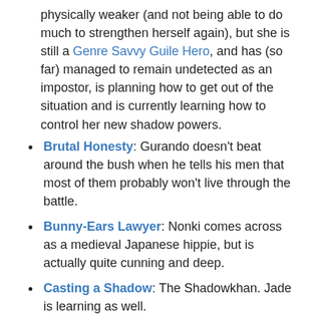physically weaker (and not being able to do much to strengthen herself again), but she is still a Genre Savvy Guile Hero, and has (so far) managed to remain undetected as an impostor, is planning how to get out of the situation and is currently learning how to control her new shadow powers.
Brutal Honesty: Gurando doesn't beat around the bush when he tells his men that most of them probably won't live through the battle.
Bunny-Ears Lawyer: Nonki comes across as a medieval Japanese hippie, but is actually quite cunning and deep.
Casting a Shadow: The Shadowkhan. Jade is learning as well.
Church Militant: The Kamikiri tribe (the Mantis Khan) seem to be all priests, while also undertaking warrior duties.
Co-Dragons: The Circle of Generals serve as this to the Queen. Though the Yojimbo appears to be first among